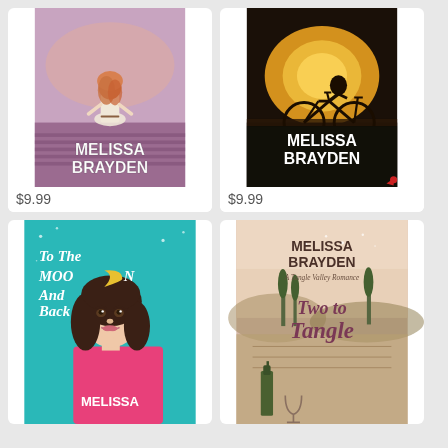[Figure (illustration): Book cover: Melissa Brayden - woman standing in lavender field with price $9.99]
[Figure (illustration): Book cover: Melissa Brayden - bicycle at sunset silhouette with price $9.99]
[Figure (illustration): Book cover: To The Moon And Back by Melissa Brayden - woman with hand on chin, teal background]
[Figure (illustration): Book cover: Two to Tangle - A Tangle Valley Romance by Melissa Brayden, vineyard background]